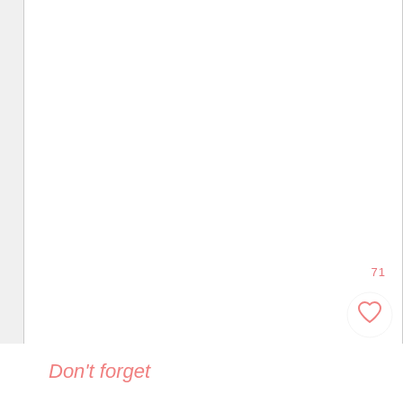[Figure (screenshot): White page area with a page number '71' in pink/salmon color, a circular heart button (white background with pink heart icon), and a circular search button (pink background with white magnifying glass icon) in the lower-right corner.]
71
Don't forget